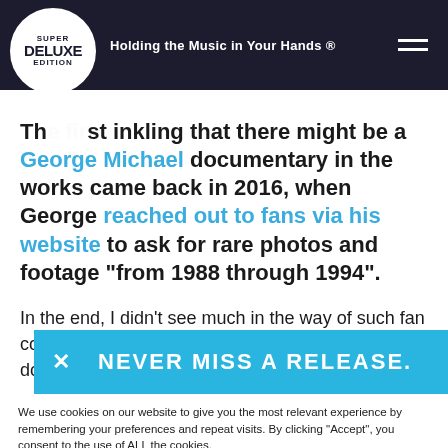Holding the Music in Your Hands ®
The first inkling that there might be a George Michael documentary in the works came back in 2016, when George reached out to fans via his website to ask for rare photos and footage "from 1988 through 1994".
In the end, I didn't see much in the way of such fan content in the documentary...
[Figure (screenshot): Blue banner overlay with close X button and text 'NEVER MISS A RELEASE.']
We use cookies on our website to give you the most relevant experience by remembering your preferences and repeat visits. By clicking “Accept”, you consent to the use of ALL the cookies.
Cookie settings | ACCEPT